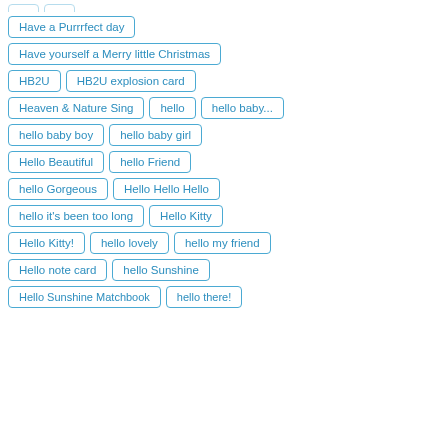Have a Purrrfect day
Have yourself a Merry little Christmas
HB2U
HB2U explosion card
Heaven & Nature Sing
hello
hello baby...
hello baby boy
hello baby girl
Hello Beautiful
hello Friend
hello Gorgeous
Hello Hello Hello
hello it's been too long
Hello Kitty
Hello Kitty!
hello lovely
hello my friend
Hello note card
hello Sunshine
Hello Sunshine Matchbook
hello there!